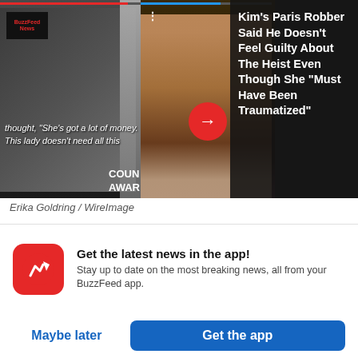[Figure (screenshot): Two video thumbnails side by side: left shows a man being interviewed (BuzzFeed News), right shows Kim Kardashian crying. Dark overlay on far right with headline text. Both have red/blue progress bars at top.]
Erika Goldring / WireImage
“I know you’re going through a lot and I never want to diminish that, but I also can’t diminish
Get the latest news in the app! Stay up to date on the most breaking news, all from your BuzzFeed app.
Maybe later
Get the app